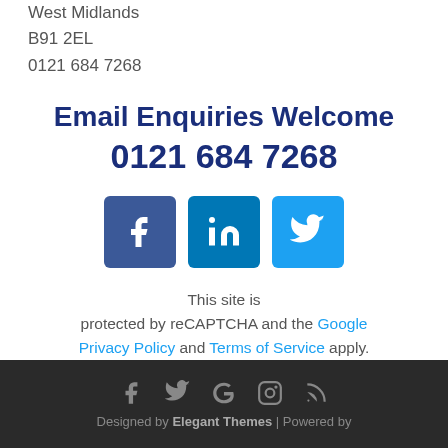Solihull
West Midlands
B91 2EL
0121 684 7268
Email Enquiries Welcome
0121 684 7268
[Figure (infographic): Three social media icon buttons: Facebook (dark blue), LinkedIn (medium blue), Twitter (light blue)]
This site is protected by reCAPTCHA and the Google Privacy Policy and Terms of Service apply.
Footer with social icons (Facebook, Twitter, Google+, Instagram, RSS) and text: Designed by Elegant Themes | Powered by